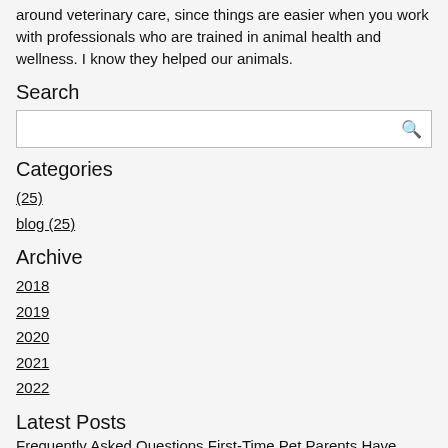around veterinary care, since things are easier when you work with professionals who are trained in animal health and wellness. I know they helped our animals.
Search
Categories
(25)
blog (25)
Archive
2018
2019
2020
2021
2022
Latest Posts
Frequently Asked Questions First-Time Pet Parents Have About Pet Vaccinations 2 August 2022
Getting a cat or dog for the first time can be exciting. Pets bring a lot of love and companionship into •••